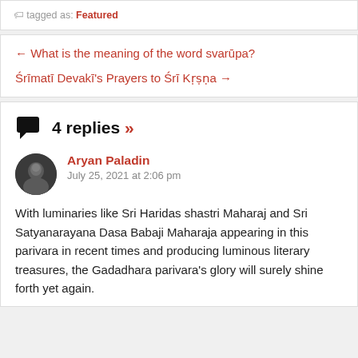tagged as: Featured
← What is the meaning of the word svarūpa?
Śrīmatī Devakī's Prayers to Śrī Kṛṣṇa →
4 replies »
Aryan Paladin
July 25, 2021 at 2:06 pm
With luminaries like Sri Haridas shastri Maharaj and Sri Satyanarayana Dasa Babaji Maharaja appearing in this parivara in recent times and producing luminous literary treasures, the Gadadhara parivara's glory will surely shine forth yet again.